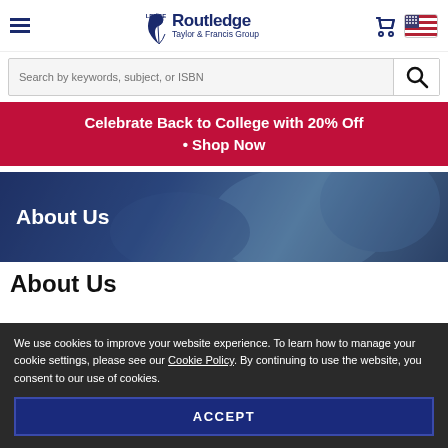Routledge Taylor & Francis Group
Search by keywords, subject, or ISBN
Celebrate Back to College with 20% Off • Shop Now
[Figure (photo): Hero banner image showing people joining hands, overlaid with dark blue tint and 'About Us' white text]
About Us
We use cookies to improve your website experience. To learn how to manage your cookie settings, please see our Cookie Policy. By continuing to use the website, you consent to our use of cookies.
ACCEPT